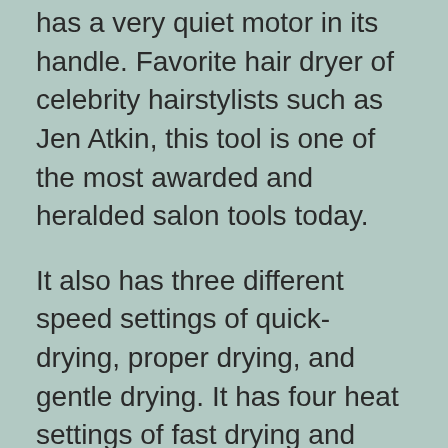has a very quiet motor in its handle. Favorite hair dryer of celebrity hairstylists such as Jen Atkin, this tool is one of the most awarded and heralded salon tools today.
It also has three different speed settings of quick-drying, proper drying, and gentle drying. It has four heat settings of fast drying and styling, regular drying, gentle drying, and constant cold. Furthermore, it is ideal for people with dyed hair as it does not change hair color tone unlike other hair dryers on the market. One of its most important features is it measures air temperature 20 times per second